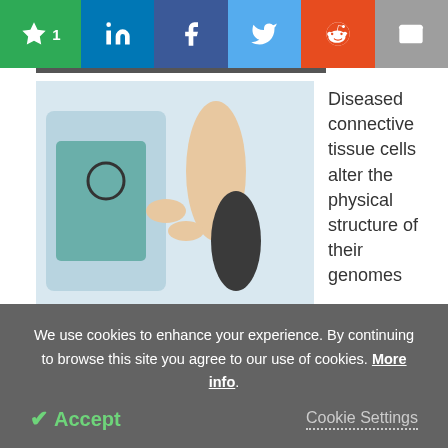Social share bar: Star 1, LinkedIn, Facebook, Twitter, Reddit, Mail
[Figure (photo): Doctor examining a patient's leg/ankle]
Diseased connective tissue cells alter the physical structure of their genomes
Newsletters you may be interested in
[Figure (photo): Cannabis plant circular icon]
Cannabis Testing & Analysis (Subscribe or Preview)
We use cookies to enhance your experience. By continuing to browse this site you agree to our use of cookies. More info.
Accept  Cookie Settings